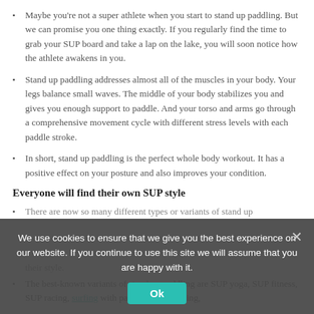Maybe you're not a super athlete when you start to stand up paddling. But we can promise you one thing exactly. If you regularly find the time to grab your SUP board and take a lap on the lake, you will soon notice how the athlete awakens in you.
Stand up paddling addresses almost all of the muscles in your body. Your legs balance small waves. The middle of your body stabilizes you and gives you enough support to paddle. And your torso and arms go through a comprehensive movement cycle with different stress levels with each paddle stroke.
In short, stand up paddling is the perfect whole body workout. It has a positive effect on your posture and also improves your condition.
Everyone will find their own SUP style
There are now so many different types or variants of stand up [obscured by cookie banner] their style.
The best-known variants of stand up paddling are SUP yoga, SUP fitness, SUP racing, surfing with paddles, hydrofoiling, [continues below]
We use cookies to ensure that we give you the best experience on our website. If you continue to use this site we will assume that you are happy with it.